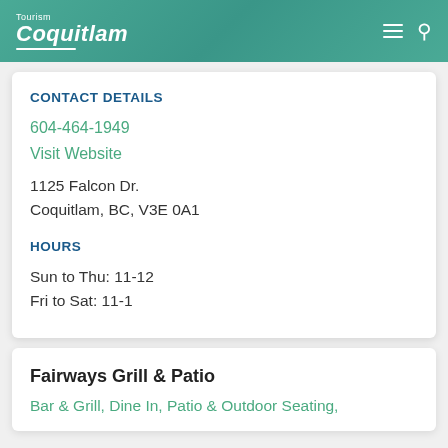Tourism Coquitlam
CONTACT DETAILS
604-464-1949
Visit Website
1125 Falcon Dr.
Coquitlam, BC, V3E 0A1
HOURS
Sun to Thu: 11-12
Fri to Sat: 11-1
Fairways Grill & Patio
Bar & Grill, Dine In, Patio & Outdoor Seating,